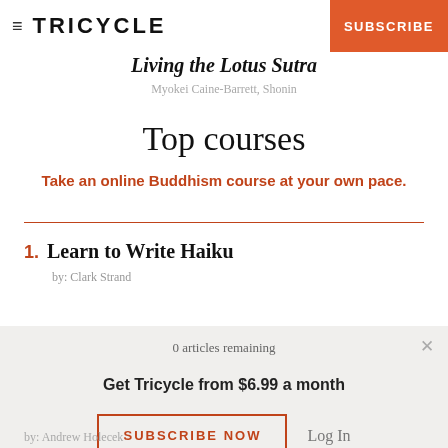TRICYCLE  SUBSCRIBE
Living the Lotus Sutra
Myokei Caine-Barrett, Shonin
Top courses
Take an online Buddhism course at your own pace.
1. Learn to Write Haiku by: Clark Strand
0 articles remaining
Get Tricycle from $6.99 a month
SUBSCRIBE NOW  Log In
by: Andrew Holecek